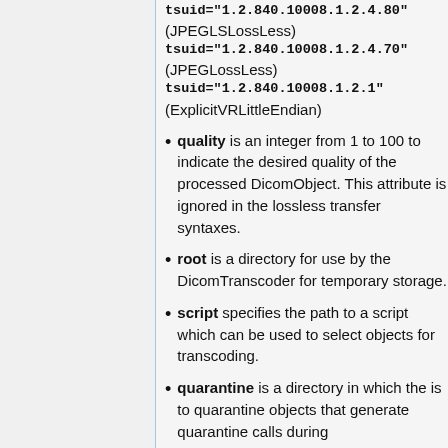tsuid="1.2.840.10008.1.2.4.80" (JPEGLSLossLess)
tsuid="1.2.840.10008.1.2.4.70" (JPEGLossLess)
tsuid="1.2.840.10008.1.2.1" (ExplicitVRLittleEndian)
quality is an integer from 1 to 100 to indicate the desired quality of the processed DicomObject. This attribute is ignored in the lossless transfer syntaxes.
root is a directory for use by the DicomTranscoder for temporary storage.
script specifies the path to a script which can be used to select objects for transcoding.
quarantine is a directory in which the is to quarantine objects that generate quarantine calls during